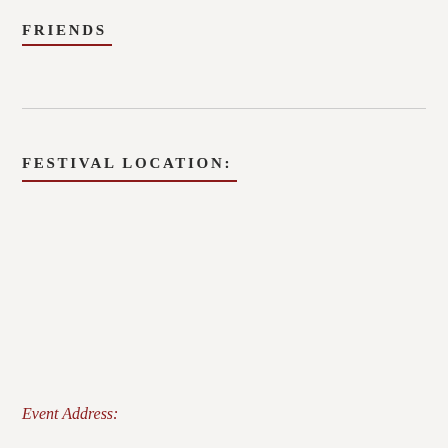FRIENDS
FESTIVAL LOCATION:
Event Address: